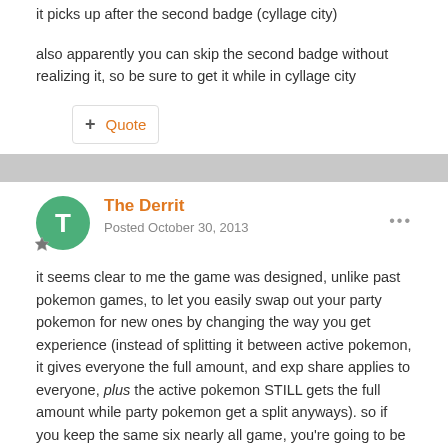it picks up after the second badge (cyllage city)
also apparently you can skip the second badge without realizing it, so be sure to get it while in cyllage city
+ Quote
The Derrit
Posted October 30, 2013
it seems clear to me the game was designed, unlike past pokemon games, to let you easily swap out your party pokemon for new ones by changing the way you get experience (instead of splitting it between active pokemon, it gives everyone the full amount, and exp share applies to everyone, plus the active pokemon STILL gets the full amount while party pokemon get a split anyways). so if you keep the same six nearly all game, you're going to be able to beat pretty much anyone.
if you want to fix this, keep rotating in new pokemon. which is honestly more fun anyways. if you want your party, then you're going to be crushing people in levels pretty hard.